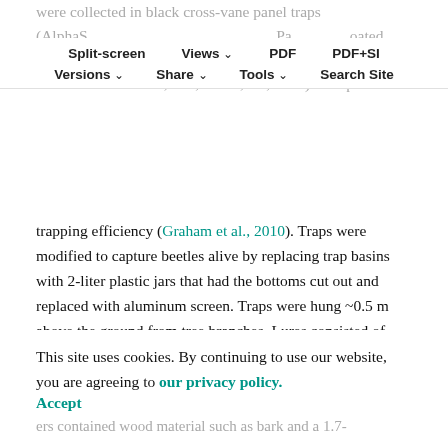were collected in black cross-vane panel traps (AlphaScents, Portland, OR, USA). Panel traps were coated with the fluoropolymer dispersion Fluon® PTFE (AGC Chemicals Americas, Inc., Exton, PA, USA) to improve
Split-screen | Views | PDF | PDF+SI | Versions | Share | Tools | Search Site
trapping efficiency (Graham et al., 2010). Traps were modified to capture beetles alive by replacing trap basins with 2-liter plastic jars that had the bottoms cut out and replaced with aluminum screen. Traps were hung ~0.5 m above the ground from tree branches. Lures consisted of polyethylene sachets (press-seal bags, Bagette model 14,772, 10×15 cm, 0.05 mm thick, Cousin Corp., Largo, FL, USA) loaded with 100 ml of 90% ethanol. Traps were checked two to three times per week. Individual beetles
This site uses cookies. By continuing to use our website, you are agreeing to our privacy policy. Accept
ers contained wood material such as bark and a 1.7-